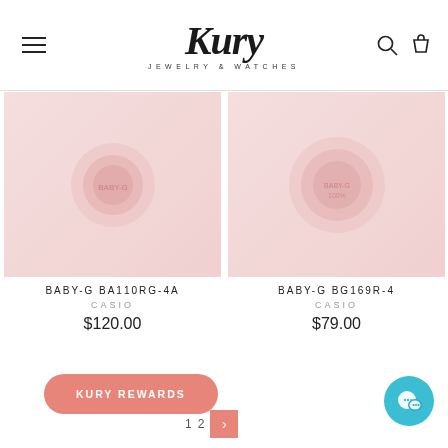[Figure (logo): Kury Jewelry & Watches logo with script font and subtitle]
Filter
[Figure (photo): Product image for BABY-G BA110RG-4A watch on pink background]
BABY-G BA110RG-4A
CASIO
$120.00
[Figure (photo): Product image for BABY-G BG169R-4 watch on pink background]
BABY-G BG169R-4
CASIO
$79.00
KURY REWARDS
1  2  ›